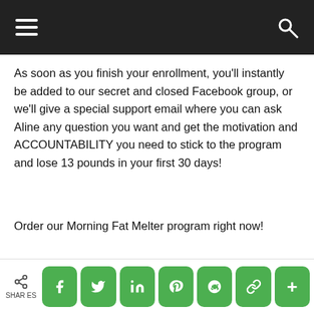Navigation bar with hamburger menu and search icon
As soon as you finish your enrollment, you’ll instantly be added to our secret and closed Facebook group, or we’ll give a special support email where you can ask Aline any question you want and get the motivation and ACCOUNTABILITY you need to stick to the program and lose 13 pounds in your first 30 days!
Order our Morning Fat Melter program right now!
Contact Privacy Policy Scientific References Legal & Testimonial Disclaimer
SHARES — Social share buttons: Facebook, Twitter, LinkedIn, Pinterest, Reddit, Link, More